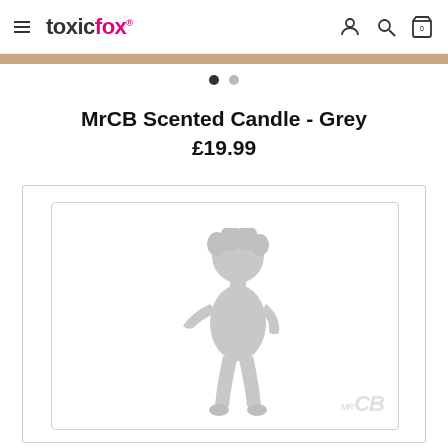toxicfox® — navigation header with menu, logo, account, search, and cart icons
MrCB Scented Candle - Grey £19.99
[Figure (photo): Product image of MrCB Scented Candle - Grey showing a grey cartoon figure character (Mr CB mascot) on a white background with MrCB logo watermark in bottom right corner]